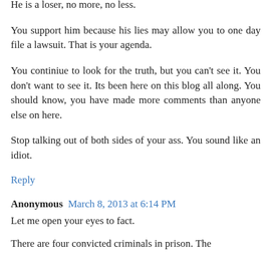He is a loser, no more, no less.
You support him because his lies may allow you to one day file a lawsuit. That is your agenda.
You continiue to look for the truth, but you can't see it. You don't want to see it. Its been here on this blog all along. You should know, you have made more comments than anyone else on here.
Stop talking out of both sides of your ass. You sound like an idiot.
Reply
Anonymous March 8, 2013 at 6:14 PM
Let me open your eyes to fact.
There are four convicted criminals in prison. The